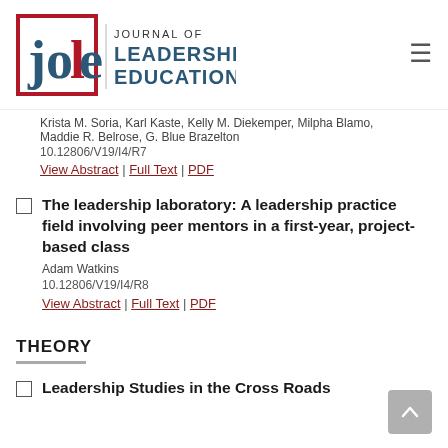[Figure (logo): Journal of Leadership Education logo with 'jole' stylized letters and text 'JOURNAL OF LEADERSHIP EDUCATION']
Krista M. Soria, Karl Kaste, Kelly M. Diekemper, Milpha Blamo, Maddie R. Belrose, G. Blue Brazelton
10.12806/V19/I4/R7
View Abstract | Full Text | PDF
The leadership laboratory: A leadership practice field involving peer mentors in a first-year, project-based class
Adam Watkins
10.12806/V19/I4/R8
View Abstract | Full Text | PDF
THEORY
Leadership Studies in the Cross Roads